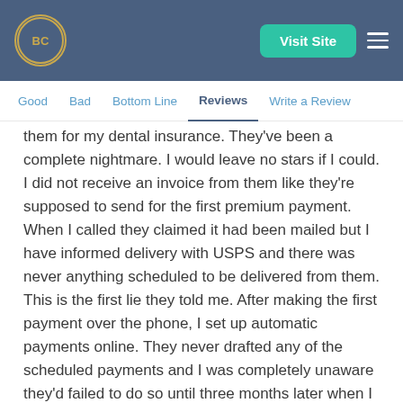BC | Visit Site | Navigation menu
Good  Bad  Bottom Line  Reviews  Write a Review
them for my dental insurance. They've been a complete nightmare. I would leave no stars if I could. I did not receive an invoice from them like they're supposed to send for the first premium payment. When I called they claimed it had been mailed but I have informed delivery with USPS and there was never anything scheduled to be delivered from them. This is the first lie they told me. After making the first payment over the phone, I set up automatic payments online. They never drafted any of the scheduled payments and I was completely unaware they'd failed to do so until three months later when I received a letter telling me they'd cancelled my policy due to non-payment. When I called to ask what happened, they told me the payment was denied and they'd